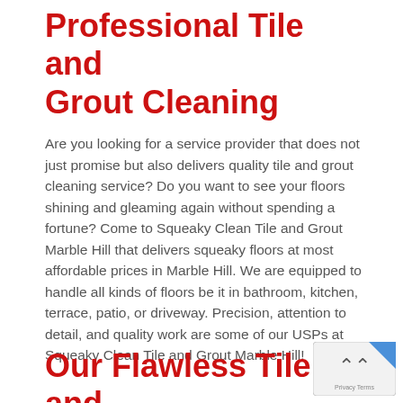Professional Tile and Grout Cleaning
Are you looking for a service provider that does not just promise but also delivers quality tile and grout cleaning service? Do you want to see your floors shining and gleaming again without spending a fortune? Come to Squeaky Clean Tile and Grout Marble Hill that delivers squeaky floors at most affordable prices in Marble Hill. We are equipped to handle all kinds of floors be it in bathroom, kitchen, terrace, patio, or driveway. Precision, attention to detail, and quality work are some of our USPs at Squeaky Clean Tile and Grout Marble Hill!
Our Flawless Tile and Grout Cleaning Service